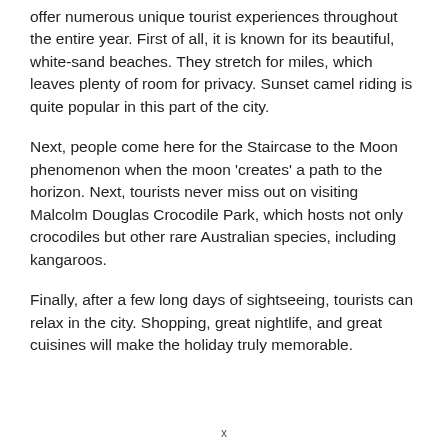offer numerous unique tourist experiences throughout the entire year. First of all, it is known for its beautiful, white-sand beaches. They stretch for miles, which leaves plenty of room for privacy. Sunset camel riding is quite popular in this part of the city.
Next, people come here for the Staircase to the Moon phenomenon when the moon 'creates' a path to the horizon. Next, tourists never miss out on visiting Malcolm Douglas Crocodile Park, which hosts not only crocodiles but other rare Australian species, including kangaroos.
Finally, after a few long days of sightseeing, tourists can relax in the city. Shopping, great nightlife, and great cuisines will make the holiday truly memorable.
x